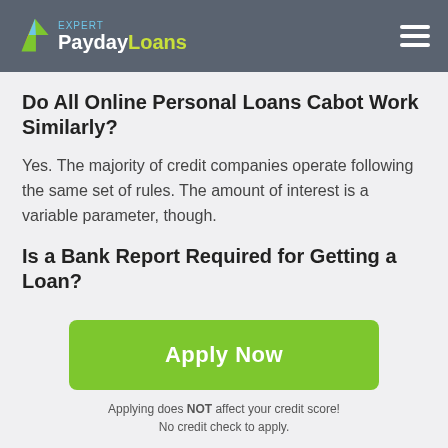PaydayLoans Expert
Do All Online Personal Loans Cabot Work Similarly?
Yes. The majority of credit companies operate following the same set of rules. The amount of interest is a variable parameter, though.
Is a Bank Report Required for Getting a Loan?
No. There is no need to provide your creditor with full information on your bank activity or explain how you plan to
Apply Now
Applying does NOT affect your credit score!
No credit check to apply.